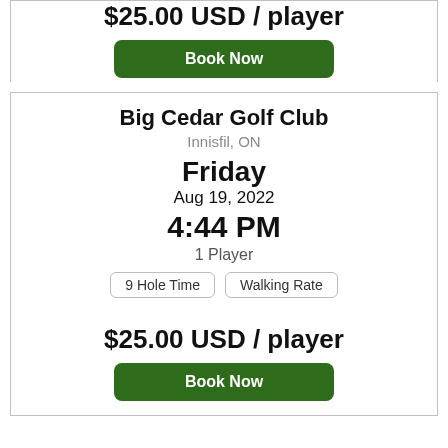$25.00 USD / player
Book Now
Big Cedar Golf Club
Innisfil, ON
Friday
Aug 19, 2022
4:44 PM
1 Player
9 Hole Time
Walking Rate
$25.00 USD / player
Book Now